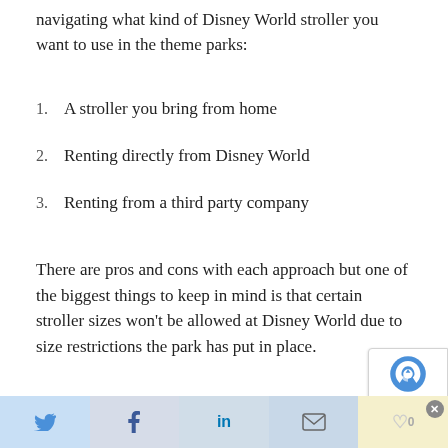navigating what kind of Disney World stroller you want to use in the theme parks:
1. A stroller you bring from home
2. Renting directly from Disney World
3. Renting from a third party company
There are pros and cons with each approach but one of the biggest things to keep in mind is that certain stroller sizes won't be allowed at Disney World due to size restrictions the park has put in place.
Here are the Disney World stroller rules to be